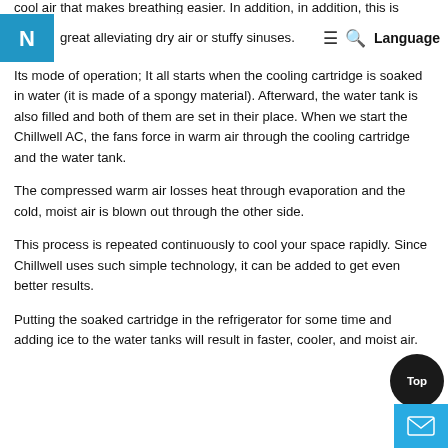cool air that makes breathing easier. In addition, in addition, this is great at alleviating dry air or stuffy sinuses. ≡ 🔍 Language
Its mode of operation; It all starts when the cooling cartridge is soaked in water (it is made of a spongy material). Afterward, the water tank is also filled and both of them are set in their place. When we start the Chillwell AC, the fans force in warm air through the cooling cartridge and the water tank.
The compressed warm air losses heat through evaporation and the cold, moist air is blown out through the other side.
This process is repeated continuously to cool your space rapidly. Since Chillwell uses such simple technology, it can be added to get even better results.
Putting the soaked cartridge in the refrigerator for some time and adding ice to the water tanks will result in faster, cooler, and moist air.